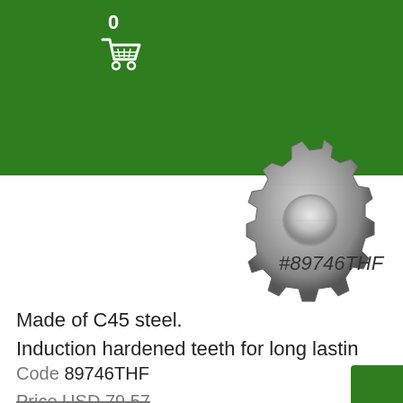0
[Figure (photo): Close-up photo of a metal sprocket gear made of C45 steel, showing induction hardened teeth, partially cropped, viewed from above on a white background.]
#89746THF
Made of C45 steel.
Induction hardened teeth for long lasting
Code 89746THF
Price USD 79.57
Price USD 74.61